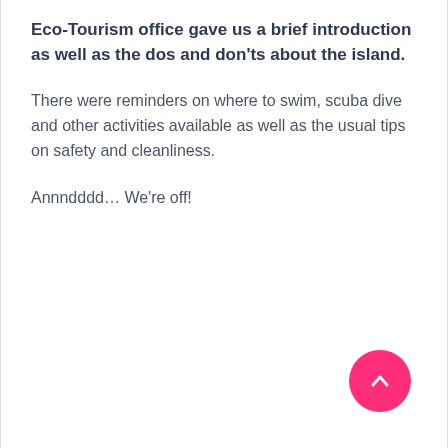Eco-Tourism office gave us a brief introduction as well as the dos and don'ts about the island.
There were reminders on where to swim, scuba dive and other activities available as well as the usual tips on safety and cleanliness.
Annndddd… We're off!
[Figure (other): Pink circular back-to-top button with upward chevron arrow icon, positioned in the bottom-right corner of the page.]